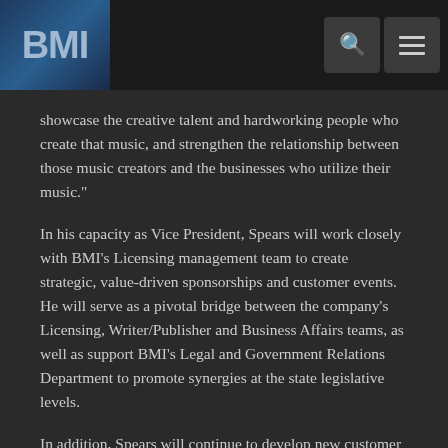[Figure (logo): BMI logo in blue tones on dark background, top left header]
showcase the creative talent and hardworking people who create that music, and strengthen the relationship between those music creators and the businesses who utilize their music."
In his capacity as Vice President, Spears will work closely with BMI's Licensing management team to create strategic, value-driven sponsorships and customer events. He will serve as a pivotal bridge between the company's Licensing, Writer/Publisher and Business Affairs teams, as well as support BMI's Legal and Government Relations Department to promote synergies at the state legislative levels.
In addition, Spears will continue to develop new customer initiatives and strategic partnerships that feature BMI songwriter performances and help educate key accounts, while providing new sources of revenue for affiliates and licensees. This will include one of Spears' most impactful initiatives, the innovative "Rising Through the Ranks" an annual radio management